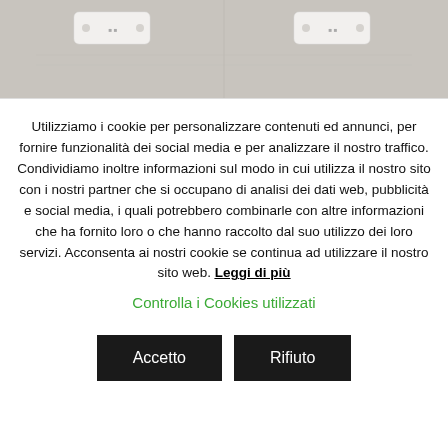[Figure (photo): Photo of two white rectangular door/window magnetic sensor devices placed on a grey/beige surface, one on the left and one on the right side of the image.]
Utilizziamo i cookie per personalizzare contenuti ed annunci, per fornire funzionalità dei social media e per analizzare il nostro traffico. Condividiamo inoltre informazioni sul modo in cui utilizza il nostro sito con i nostri partner che si occupano di analisi dei dati web, pubblicità e social media, i quali potrebbero combinarle con altre informazioni che ha fornito loro o che hanno raccolto dal suo utilizzo dei loro servizi. Acconsenta ai nostri cookie se continua ad utilizzare il nostro sito web. Leggi di più
Controlla i Cookies utilizzati
Accetto
Rifiuto